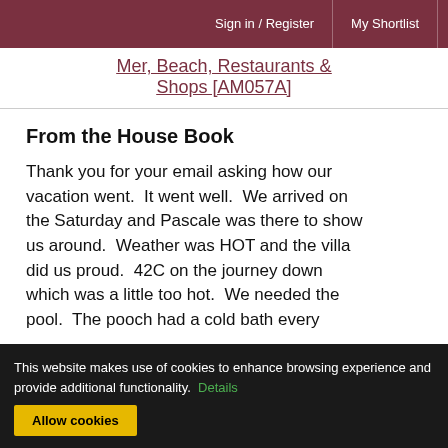Sign in / Register   My Shortlist
Mer, Beach, Restaurants & Shops [AM057A]
From the House Book
Thank you for your email asking how our vacation went.  It went well.  We arrived on the Saturday and Pascale was there to show us around.  Weather was HOT and the villa did us proud.  42C on the journey down which was a little too hot.  We needed the pool.  The pooch had a cold bath every
This website makes use of cookies to enhance browsing experience and provide additional functionality.  Details
Allow cookies